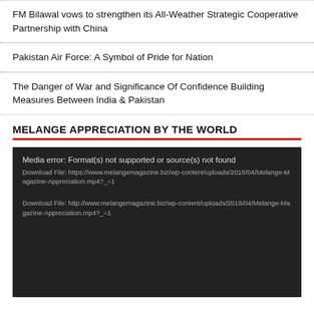FM Bilawal vows to strengthen its All-Weather Strategic Cooperative Partnership with China
Pakistan Air Force: A Symbol of Pride for Nation
The Danger of War and Significance Of Confidence Building Measures Between India & Pakistan
MELANGE APPRECIATION BY THE WORLD
[Figure (screenshot): Media player error box on dark background showing: 'Media error: Format(s) not supported or source(s) not found' with two download file links to melangemagazine.biz mp4 files]